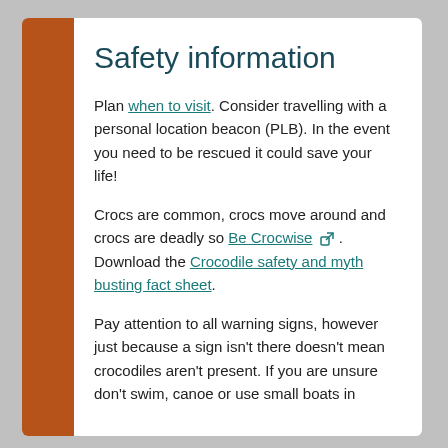Safety information
Plan when to visit. Consider travelling with a personal location beacon (PLB). In the event you need to be rescued it could save your life!
Crocs are common, crocs move around and crocs are deadly so Be Crocwise. Download the Crocodile safety and myth busting fact sheet.
Pay attention to all warning signs, however just because a sign isn't there doesn't mean crocodiles aren't present. If you are unsure don't swim, canoe or use small boats in